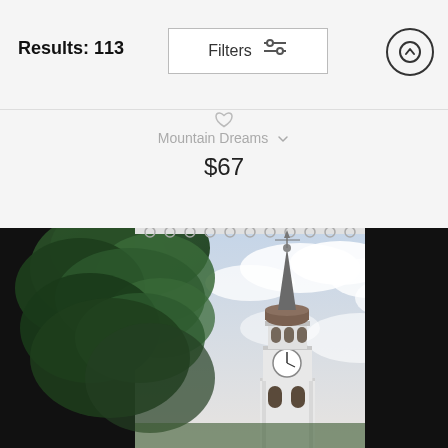Results: 113
Mountain Dreams
$67
[Figure (photo): Shower curtain product photo showing a church or university bell tower steeple with clock face, green trees on the left, and dramatic cloudy sky. The curtain is shown hanging on a rod with metal rings. Black panels on left and right edges.]